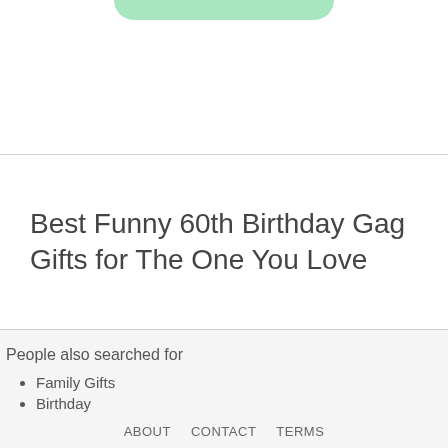[Figure (illustration): Partial green rounded shape visible at top of card, cropped from above]
Best Funny 60th Birthday Gag Gifts for The One You Love
People also searched for
Family Gifts
Birthday
ABOUT  CONTACT  TERMS